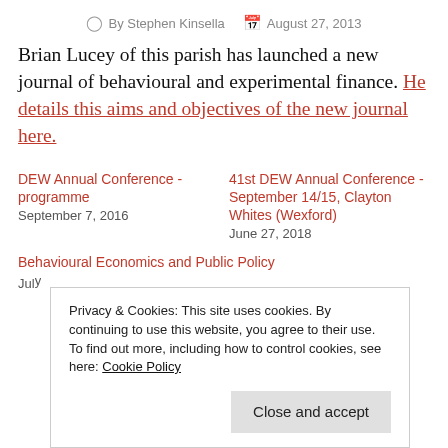By Stephen Kinsella   August 27, 2013
Brian Lucey of this parish has launched a new journal of behavioural and experimental finance. He details this aims and objectives of the new journal here.
DEW Annual Conference - programme
September 7, 2016
41st DEW Annual Conference - September 14/15, Clayton Whites (Wexford)
June 27, 2018
Behavioural Economics and Public Policy
July ...
Privacy & Cookies: This site uses cookies. By continuing to use this website, you agree to their use.
To find out more, including how to control cookies, see here: Cookie Policy
Close and accept